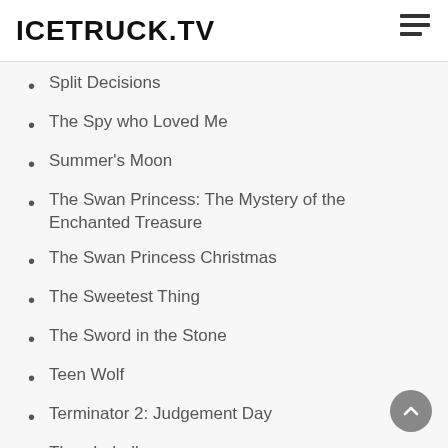ICETRUCK.TV
Split Decisions
The Spy who Loved Me
Summer's Moon
The Swan Princess: The Mystery of the Enchanted Treasure
The Swan Princess Christmas
The Sweetest Thing
The Sword in the Stone
Teen Wolf
Terminator 2: Judgement Day
Thunderball
Tomorrow Never Dies
Treasure Planet